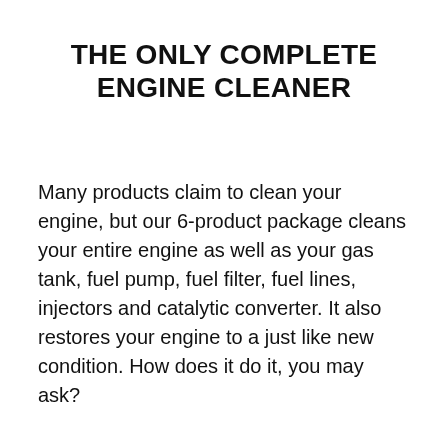THE ONLY COMPLETE ENGINE CLEANER
Many products claim to clean your engine, but our 6-product package cleans your entire engine as well as your gas tank, fuel pump, fuel filter, fuel lines, injectors and catalytic converter. It also restores your engine to a just like new condition. How does it do it, you may ask?